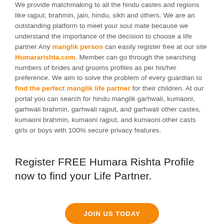We provide matchmaking to all the hindu castes and regions like rajput, brahmin, jain, hindu, sikh and others. We are an outstanding platform to meet your soul mate because we understand the importance of the decision to choose a life partner Any manglik person can easily register free at our site Humararishta.com. Member can go through the searching numbers of brides and grooms profiles as per his/her preference. We aim to solve the problem of every guardian to find the perfect manglik life partner for their children. At our portal you can search for hindu manglik garhwali, kumaoni, garhwali brahmin, garhwali rajput, and garhwali other castes, kumaoni brahmin, kumaoni rajput, and kumaoni other casts girls or boys with 100% secure privacy features.
Register FREE Humara Rishta Profile now to find your Life Partner.
JOIN US TODAY